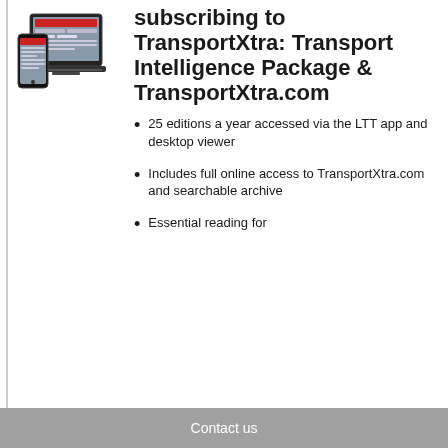[Figure (illustration): Device mockup showing a smartphone and a tablet/laptop displaying the TransportXtra website]
subscribing to TransportXtra: Transport Intelligence Package & TransportXtra.com
25 editions a year accessed via the LTT app and desktop viewer
Includes full online access to TransportXtra.com and searchable archive
Essential reading for
Contact us